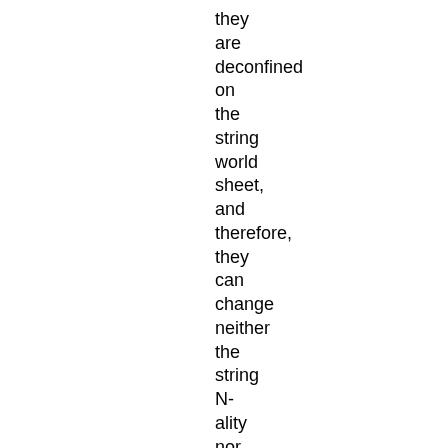they are deconfined on the string world sheet, and therefore, they can change neither the string N-ality nor its tension. This